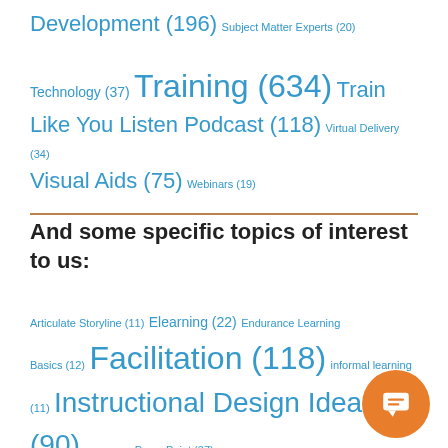Development (196) Subject Matter Experts (20) Technology (37) Training (634) Train Like You Listen Podcast (118) Virtual Delivery (34) Visual Aids (75) Webinars (19)
And some specific topics of interest to us:
Articulate Storyline (11) Elearning (22) Endurance Learning Basics (12) Facilitation (118) informal learning (11) Instructional Design Ideas (90) ... PowerPoint (37)